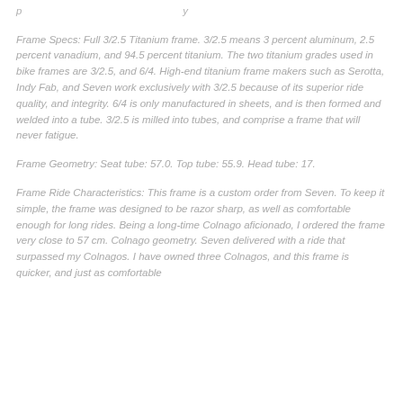Frame Specs: Full 3/2.5 Titanium frame. 3/2.5 means 3 percent aluminum, 2.5 percent vanadium, and 94.5 percent titanium. The two titanium grades used in bike frames are 3/2.5, and 6/4. High-end titanium frame makers such as Serotta, Indy Fab, and Seven work exclusively with 3/2.5 because of its superior ride quality, and integrity. 6/4 is only manufactured in sheets, and is then formed and welded into a tube. 3/2.5 is milled into tubes, and comprise a frame that will never fatigue.
Frame Geometry: Seat tube: 57.0. Top tube: 55.9. Head tube: 17.
Frame Ride Characteristics: This frame is a custom order from Seven. To keep it simple, the frame was designed to be razor sharp, as well as comfortable enough for long rides. Being a long-time Colnago aficionado, I ordered the frame very close to 57 cm. Colnago geometry. Seven delivered with a ride that surpassed my Colnagos. I have owned three Colnagos, and this frame is quicker, and just as comfortable